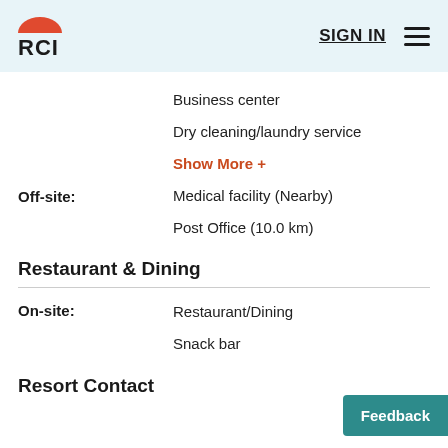RCI   SIGN IN
Business center
Dry cleaning/laundry service
Show More +
Off-site:
Medical facility (Nearby)
Post Office (10.0 km)
Restaurant & Dining
On-site:
Restaurant/Dining
Snack bar
Resort Contact
Feedback